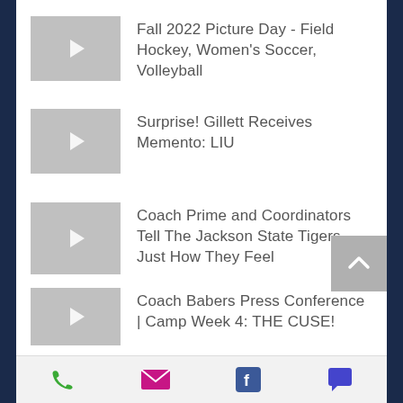Fall 2022 Picture Day - Field Hockey, Women's Soccer, Volleyball
Surprise! Gillett Receives Memento: LIU
Coach Prime and Coordinators Tell The Jackson State Tigers Just How They Feel
Coach Babers Press Conference | Camp Week 4: THE CUSE!
[Figure (screenshot): Bottom navigation toolbar with phone, email, Facebook, and chat icons]